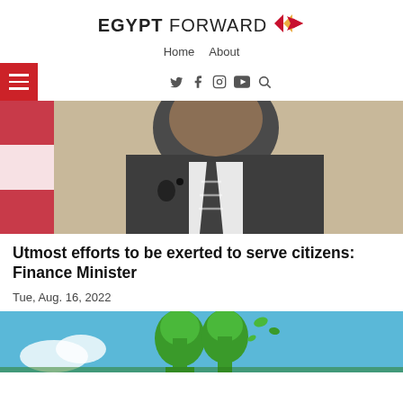EGYPT FORWARD — Home  About
[Figure (photo): Photo of Finance Minister seated in front of Egyptian flag, wearing dark suit and striped tie]
Utmost efforts to be exerted to serve citizens: Finance Minister
Tue, Aug. 16, 2022
[Figure (photo): Photo of green plant/tree letters on blue sky background]